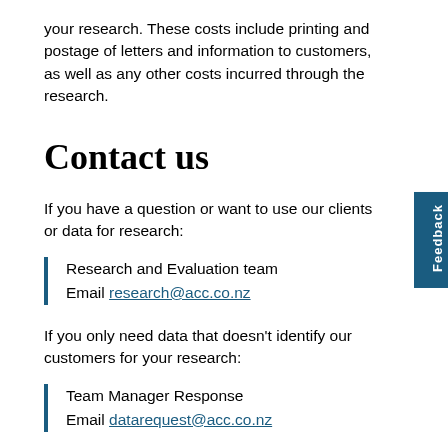your research. These costs include printing and postage of letters and information to customers, as well as any other costs incurred through the research.
Contact us
If you have a question or want to use our clients or data for research:
Research and Evaluation team
Email research@acc.co.nz
If you only need data that doesn't identify our customers for your research:
Team Manager Response
Email datarequest@acc.co.nz
To submit an application to the Ethics Panel: